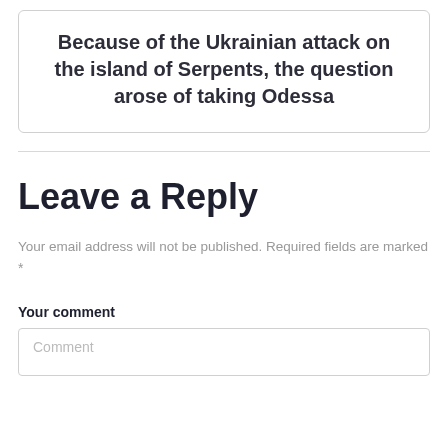Because of the Ukrainian attack on the island of Serpents, the question arose of taking Odessa
Leave a Reply
Your email address will not be published. Required fields are marked *
Your comment
Comment